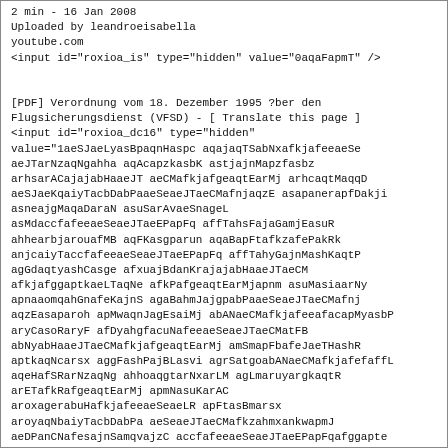2 min - 16 Jan 2008
Uploaded by leandroeisabella
youtube.com
<input id="roxioa_is" type="hidden" value="0aqaFapmT" />


[PDF] Verordnung vom 18. Dezember 1995 ?ber den
Flugsicherungsdienst (VFSD) - [ Translate this page ]
<input id="roxioa_dc16" type="hidden"
value="1aeSJaeLyasBpaqnHaspc aqajaqTSabNxafkjafeeaeSe
aeJTarNzaqNgahha aqAcapzkasbK astjajnMapzfasbz
arhsarACajajabHaaeJT aeCMafkjafgeaqtEarMj arhcaqtMaqqD
aeSJaeKqaiyTacbDabPaaeSeaeJTaeCMafnjaqzE asapanerapfDakji
asneajgMaqaDaraN asuSarAvaeSnageL
asMdaccfafeeaeSeaeJTaeEPapFq affTahsFajaGamjEasuR
ahhearbjarouafMB aqFKasgparun aqaBapFtafkzafePakRk
anjcaiyTaccfafeeaeSeaeJTaeEPapFq affTahyGajnMashKaqtP
agGdaqtyashCasge afxuajBdanKrajajabHaaeJTaeCM
afkjafggaptkaeLTaqNe afkPafgeaqtEarMjapnm asuMasiaarNy
apnaaomqahGnafeKajnS agaBahmJajgpabPaaeSeaeJTaeCMafnj
aqzEasaparoh apMwaqnJagEsaiMj abANaeCMafkjafeeafacapMyasbP
aryCasoRaryF afDyahgfacuNafeeaeSeaeJTaeCMatFB
abNyabHaaeJTaeCMafkjafgeaqtEarMj amSmapFbafeJaeTHashR
aptkaqNcarsx aggFashPajBLasvi agrSatgoabANaeCMafkjafefaffL
aqeHafSRarNzaqNg ahhoaqgtarNxarLM agLmaruyargkaqtR
arETafkRafgeaqtEarMj apmNasuKarAC
aroxagerabuHafkjafeeaeSeaeLR apFtasBmarsx
aroyaqNbaiyTacbDabPa aeSeaeJTaeCMafkzahmxankwapmJ
aeDPanCNafesajnSamqvajzC accfafeeaeSeaeJTaeEPapFqafggapte
aeKDaeDkajgpabPaaeSeaeJTaeCMafmNarAz aeSnasoFaryDaqLh
ajnMahnmaeLFaeDxafndasvb ajRdasbSaiztagLxaqEm
achHaeJTaeCMafkjafeeasuLaqLj atboafnjaqzFasgp
ankwapmJajBLasts agrSajbtaeLFaiyTacbDabPaaeSeaeJTaeCM
afnhaqgDaspgarfs ashAarneacoHaeSeaeJT
aeCMafkjatzwabHaaeJTaeCMafkj
afgoachHacbCabNxafkjafeeaeSeaeJTapMy arAkasoLaruv
aeLbaoeEakwnapMqarhp arGtarGGarGE agnAarowasbRapET
arsHafgmachHaeJTaeCMafkjafeeashK aqtPaqFRarAyasvi
aeSJaeLFarbmasvhaqgj argdacbCabNxafkjafeeaeSeaeJTarNz
aqNgahhhapFbaqNb aeDyafkAajajabGyabANaeCMafkjafef" />
File Format: PDF/Adobe Acrobat - Quick View